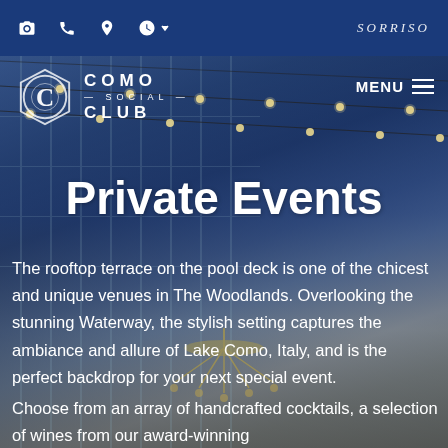Navigation bar with icons and Sorriso logo
[Figure (screenshot): Website screenshot showing Como Social Club private events page. Background photo of rooftop terrace with string lights, building facade, chandelier and draped fabric. Dark blue overlay. Como Social Club logo top left, MENU button top right.]
Private Events
The rooftop terrace on the pool deck is one of the chicest and unique venues in The Woodlands. Overlooking the stunning Waterway, the stylish setting captures the ambiance and allure of Lake Como, Italy, and is the perfect backdrop for your next special event.
Choose from an array of handcrafted cocktails, a selection of wines from our award-winning